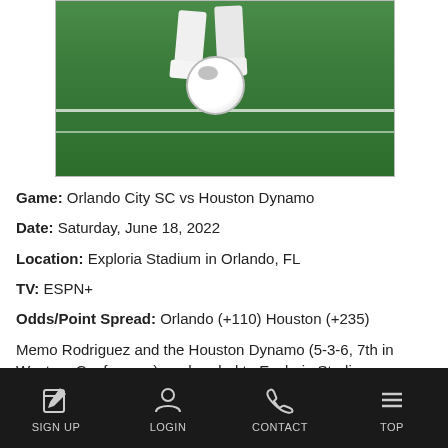[Figure (photo): Soccer player feet with ball on grass field]
Game: Orlando City SC vs Houston Dynamo
Date: Saturday, June 18, 2022
Location: Exploria Stadium in Orlando, FL
TV: ESPN+
Odds/Point Spread: Orlando (+110) Houston (+235)
Memo Rodriguez and the Houston Dynamo (5-3-6, 7th in Western Conference) are headed to Exploria Stadium on Saturday where they'll meet Orlando City (6-3-5, 5th in Eastern Conference). The men
SIGN UP  LOGIN  CONTACT  TOP